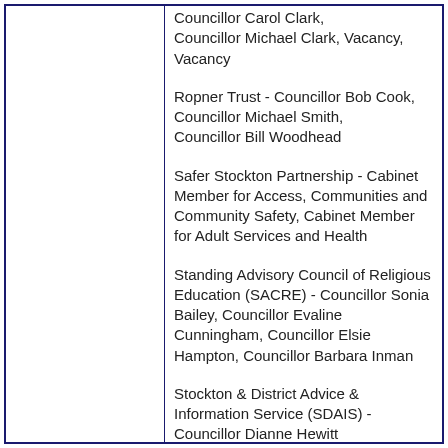Councillor Carol Clark, Councillor Michael Clark, Vacancy, Vacancy
Ropner Trust - Councillor Bob Cook, Councillor Michael Smith, Councillor Bill Woodhead
Safer Stockton Partnership - Cabinet Member for Access, Communities and Community Safety, Cabinet Member for Adult Services and Health
Standing Advisory Council of Religious Education (SACRE) - Councillor Sonia Bailey, Councillor Evaline Cunningham, Councillor Elsie Hampton, Councillor Barbara Inman
Stockton & District Advice & Information Service (SDAIS) - Councillor Dianne Hewitt
Tees Active Management Board - Cabinet Member for Arts, Leisure and Culture, Councillor Derick Brown
Teesside & District Society for the Blind...